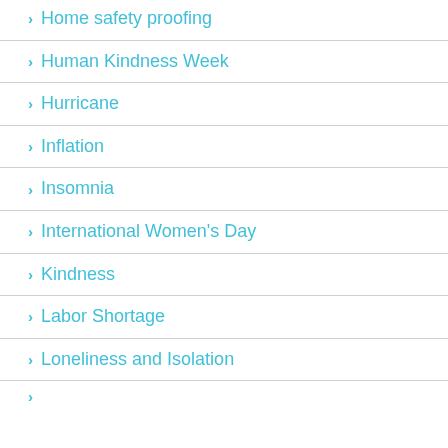Home safety proofing
Human Kindness Week
Hurricane
Inflation
Insomnia
International Women's Day
Kindness
Labor Shortage
Loneliness and Isolation